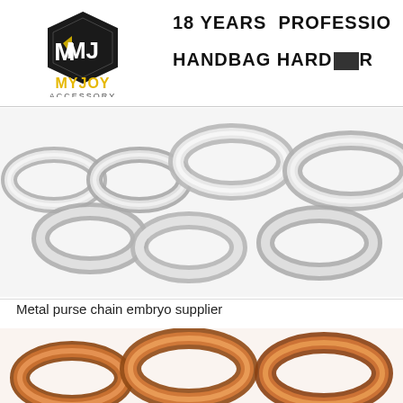[Figure (logo): MYJOY ACCESSORY logo: hexagonal badge with stylized M and J letters, gold and dark colors, with text MYJOY ACCESSORY below]
18 YEARS  PROFESSIO
HANDBAG HARDW[redacted]R
[Figure (photo): Close-up photo of silver/chrome metal curb chain links for purse/handbag]
Metal purse chain embryo supplier
[Figure (photo): Close-up photo of rose gold/copper metal curb chain links for purse/handbag, with Chat Online button overlay]